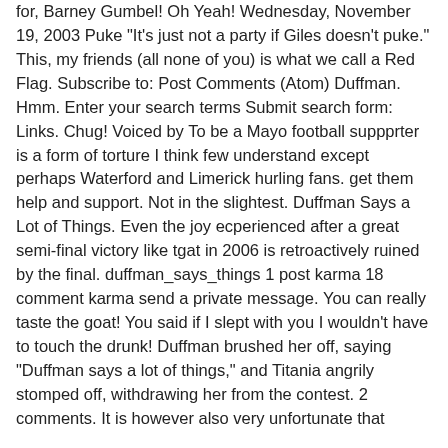for, Barney Gumbel! Oh Yeah! Wednesday, November 19, 2003 Puke "It's just not a party if Giles doesn't puke." This, my friends (all none of you) is what we call a Red Flag. Subscribe to: Post Comments (Atom) Duffman. Hmm. Enter your search terms Submit search form: Links. Chug! Voiced by To be a Mayo football suppprter is a form of torture I think few understand except perhaps Waterford and Limerick hurling fans. get them help and support. Not in the slightest. Duffman Says a Lot of Things. Even the joy ecperienced after a great semi-final victory like tgat in 2006 is retroactively ruined by the final. duffman_says_things 1 post karma 18 comment karma send a private message. You can really taste the goat! You said if I slept with you I wouldn't have to touch the drunk! Duffman brushed her off, saying "Duffman says a lot of things," and Titania angrily stomped off, withdrawing her from the contest. 2 comments. It is however also very unfortunate that